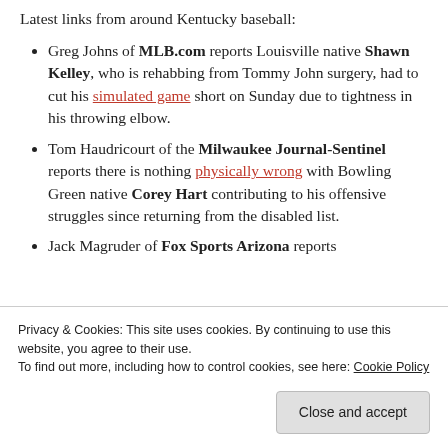Latest links from around Kentucky baseball:
Greg Johns of MLB.com reports Louisville native Shawn Kelley, who is rehabbing from Tommy John surgery, had to cut his simulated game short on Sunday due to tightness in his throwing elbow.
Tom Haudricourt of the Milwaukee Journal-Sentinel reports there is nothing physically wrong with Bowling Green native Corey Hart contributing to his offensive struggles since returning from the disabled list.
Jack Magruder of Fox Sports Arizona reports
Privacy & Cookies: This site uses cookies. By continuing to use this website, you agree to their use. To find out more, including how to control cookies, see here: Cookie Policy
Close and accept